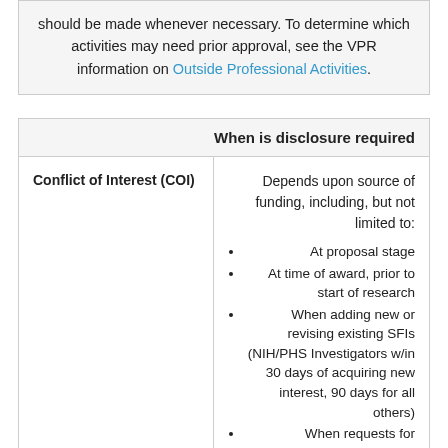should be made whenever necessary. To determine which activities may need prior approval, see the VPR information on Outside Professional Activities.
|  | When is disclosure required |
| --- | --- |
| Conflict of Interest (COI) | Depends upon source of funding, including, but not limited to:
• At proposal stage
• At time of award, prior to start of research
• When adding new or revising existing SFIs (NIH/PHS Investigators w/in 30 days of acquiring new interest, 90 days for all others)
• When requests for additional funding are submitted
• Annually |